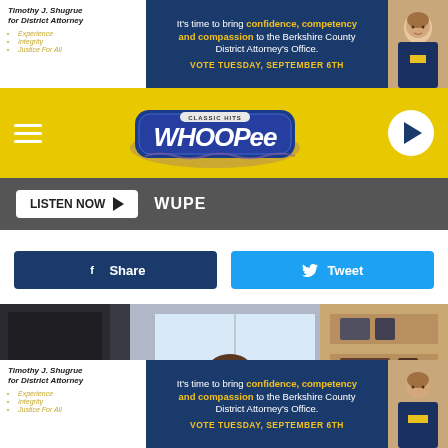[Figure (screenshot): Advertisement banner for Timothy J. Shugrue for District Attorney with dark blue background, text 'It's time to bring confidence, competency and compassion to the Berkshire County District Attorney's Office. VOTE TUESDAY, SEPTEMBER 6TH', and candidate photo]
[Figure (logo): Classic Hits WHOOPee radio station logo on yellow background with hamburger menu and play button]
[Figure (screenshot): LISTEN NOW button and WUPE text on dark gray bar]
[Figure (screenshot): Facebook Share and Twitter Tweet buttons]
[Figure (photo): Man in red striped shirt using a power drill while a golden/yellow Labrador dog watches closely, home improvement scene]
[Figure (screenshot): Second advertisement banner for Timothy J. Shugrue at bottom of page]